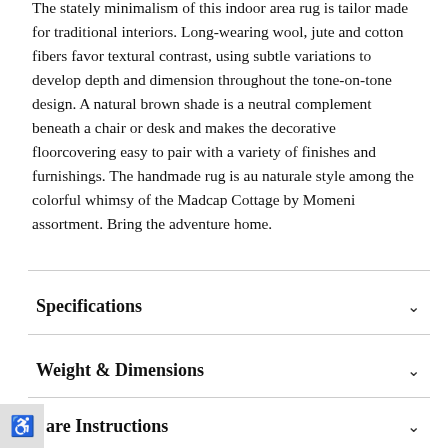The stately minimalism of this indoor area rug is tailor made for traditional interiors. Long-wearing wool, jute and cotton fibers favor textural contrast, using subtle variations to develop depth and dimension throughout the tone-on-tone design. A natural brown shade is a neutral complement beneath a chair or desk and makes the decorative floorcovering easy to pair with a variety of finishes and furnishings. The handmade rug is au naturale style among the colorful whimsy of the Madcap Cottage by Momeni assortment. Bring the adventure home.
Specifications
Weight & Dimensions
are Instructions